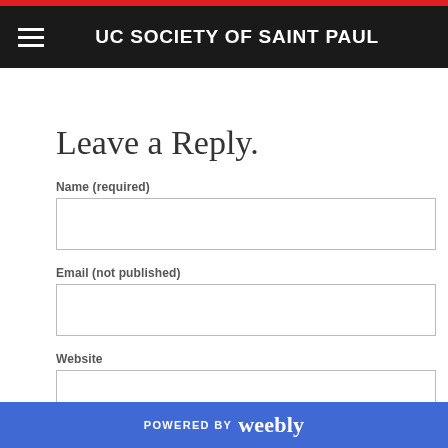UC SOCIETY OF SAINT PAUL
Leave a Reply.
Name (required)
Email (not published)
Website
POWERED BY weebly